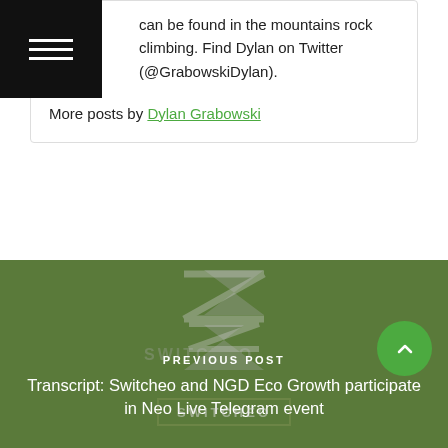can be found in the mountains rock climbing. Find Dylan on Twitter (@GrabowskiDylan).
More posts by Dylan Grabowski
READ OUR EDITORIAL POLICY
PREVIOUS POST
Transcript: Switcheo and NGD Eco Growth participate in Neo Live Telegram event